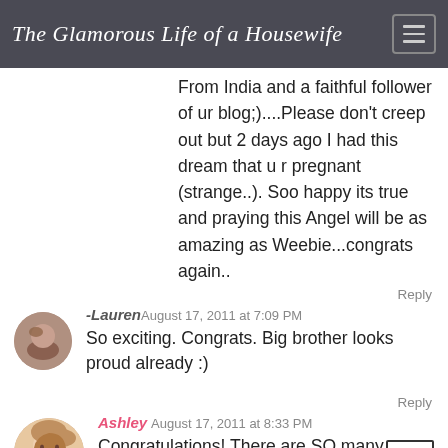The Glamorous Life of a Housewife
From India and a faithful follower of ur blog;)....Please don't creep out but 2 days ago I had this dream that u r pregnant (strange..). Soo happy its true and praying this Angel will be as amazing as Weebie...congrats again..
Reply
[Figure (photo): Small circular avatar photo of a person]
-Lauren August 17, 2011 at 7:09 PM
So exciting. Congrats. Big brother looks proud already :)
Reply
[Figure (photo): Circular avatar photo of Ashley, a woman with brown/blonde hair smiling]
Ashley August 17, 2011 at 8:33 PM
Congratulations! There are SO many new babies on the way!